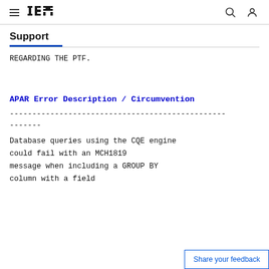IBM Support
REGARDING THE PTF.
APAR Error Description / Circumvention
------------------------------------------------ -------
Database queries using the CQE engine could fail with an MCH1819 message when including a GROUP BY column with a field